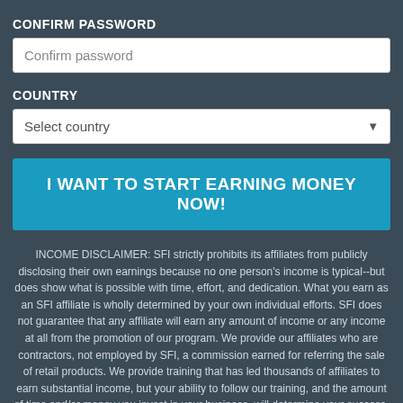CONFIRM PASSWORD
Confirm password
COUNTRY
Select country
I WANT TO START EARNING MONEY NOW!
INCOME DISCLAIMER: SFI strictly prohibits its affiliates from publicly disclosing their own earnings because no one person's income is typical--but does show what is possible with time, effort, and dedication. What you earn as an SFI affiliate is wholly determined by your own individual efforts. SFI does not guarantee that any affiliate will earn any amount of income or any income at all from the promotion of our program. We provide our affiliates who are contractors, not employed by SFI, a commission earned for referring the sale of retail products. We provide training that has led thousands of affiliates to earn substantial income, but your ability to follow our training, and the amount of time and/or money you invest in your business, will determine your success.
NO SPAM: SFI...